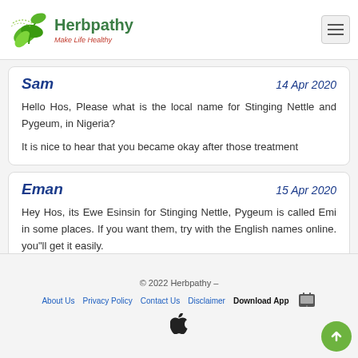Herbpathy — Make Life Healthy
Sam — 14 Apr 2020
Hello Hos, Please what is the local name for Stinging Nettle and Pygeum, in Nigeria?
It is nice to hear that you became okay after those treatment
Eman — 15 Apr 2020
Hey Hos, its Ewe Esinsin for Stinging Nettle, Pygeum is called Emi in some places. If you want them, try with the English names online. you"ll get it easily.
Sam (India) — 05 May 2018
© 2022 Herbpathy – About Us Privacy Policy Contact Us Disclaimer Download App